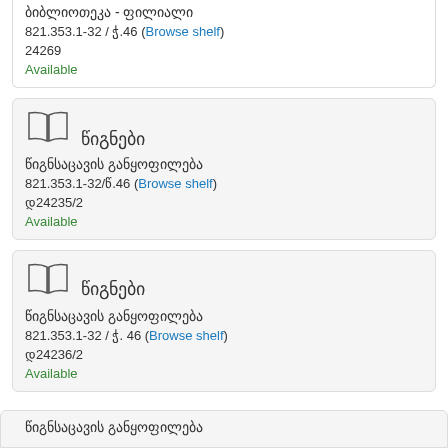ბიბლიოთეკა - ფილიალი
821.353.1-32 / ჭ.46 (Browse shelf)
24269
Available
[Figure (illustration): Book icon with label BOOK]
წიგნები
წიგნსაცავის განყოფილება
821.353.1-32/წ.46 (Browse shelf)
დ24235/2
Available
[Figure (illustration): Book icon with label BOOK]
წიგნები
წიგნსაცავის განყოფილება
821.353.1-32 / ჭ. 46 (Browse shelf)
დ24236/2
Available
წიგნსაცავის განყოფილება